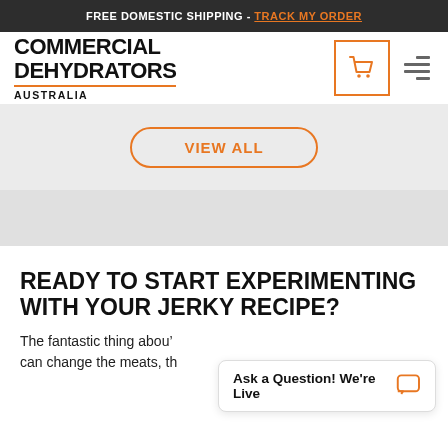FREE DOMESTIC SHIPPING - TRACK MY ORDER
[Figure (logo): Commercial Dehydrators Australia logo with shopping cart and menu icons]
VIEW ALL
READY TO START EXPERIMENTING WITH YOUR JERKY RECIPE?
The fantastic thing abou... can change the meats, th...
Ask a Question! We're Live